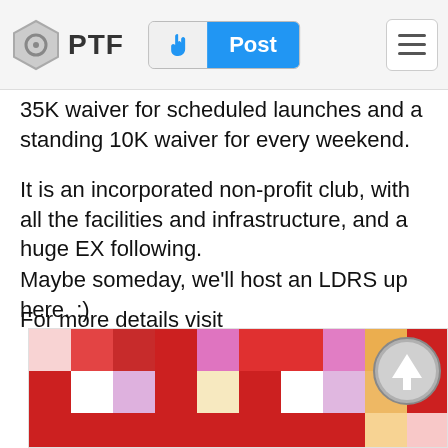PTF | Post
35K waiver for scheduled launches and a standing 10K waiver for every weekend.
It is an incorporated non-profit club, with all the facilities and infrastructure, and a huge EX following.
Maybe someday, we'll host an LDRS up here. :)
For more details visit
[Figure (photo): Blurred colorful pixel/tile map image with red, pink, orange, yellow, and purple colored squares arranged in a pattern, partially visible at the bottom of the page.]